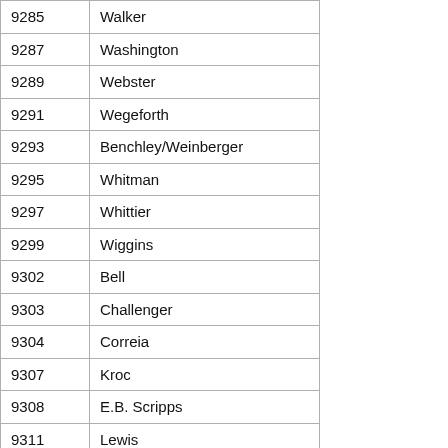| ID | Name |
| --- | --- |
| 9285 | Walker |
| 9287 | Washington |
| 9289 | Webster |
| 9291 | Wegeforth |
| 9293 | Benchley/Weinberger |
| 9295 | Whitman |
| 9297 | Whittier |
| 9299 | Wiggins |
| 9302 | Bell |
| 9303 | Challenger |
| 9304 | Correia |
| 9307 | Kroc |
| 9308 | E.B. Scripps |
| 9311 | Lewis |
| 9312 | Mann |
| 9313 | Marston |